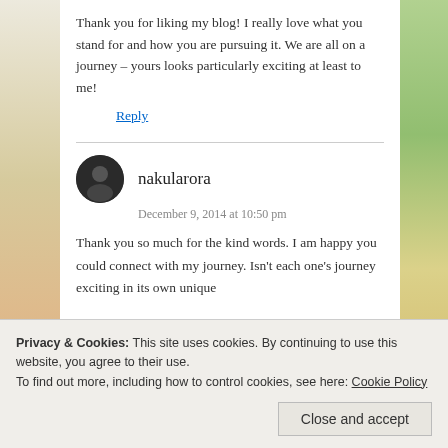Thank you for liking my blog! I really love what you stand for and how you are pursuing it. We are all on a journey – yours looks particularly exciting at least to me!
Reply
nakularora
December 9, 2014 at 10:50 pm
Thank you so much for the kind words. I am happy you could connect with my journey. Isn't each one's journey exciting in its own unique
Privacy & Cookies: This site uses cookies. By continuing to use this website, you agree to their use. To find out more, including how to control cookies, see here: Cookie Policy
Close and accept